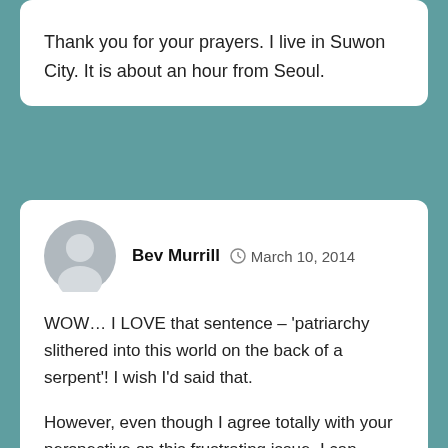Thank you for your prayers. I live in Suwon City. It is about an hour from Seoul.
Bev Murrill  March 10, 2014
WOW… I LOVE that sentence – 'patriarchy slithered into this world on the back of a serpent'! I wish I'd said that.
However, even though I agree totally with your perspective on this frustrating issue, I can